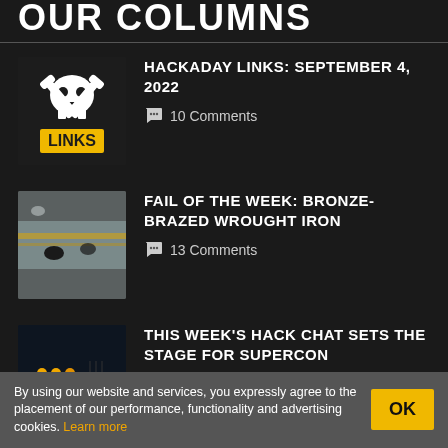OUR COLUMNS
HACKADAY LINKS: SEPTEMBER 4, 2022 — 10 Comments
FAIL OF THE WEEK: BRONZE-BRAZED WROUGHT IRON — 13 Comments
THIS WEEK'S HACK CHAT SETS THE STAGE FOR SUPERCON
By using our website and services, you expressly agree to the placement of our performance, functionality and advertising cookies. Learn more